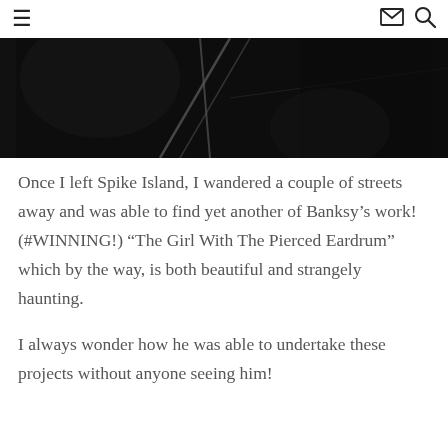≡  ✉ 🔍
[Figure (photo): Dark photograph showing metallic rods or wires crossing diagonally against a very dark background, abstract and dramatic.]
Once I left Spike Island, I wandered a couple of streets away and was able to find yet another of Banksy's work! (#WINNING!) "The Girl With The Pierced Eardrum" which by the way, is both beautiful and strangely haunting.
I always wonder how he was able to undertake these projects without anyone seeing him!